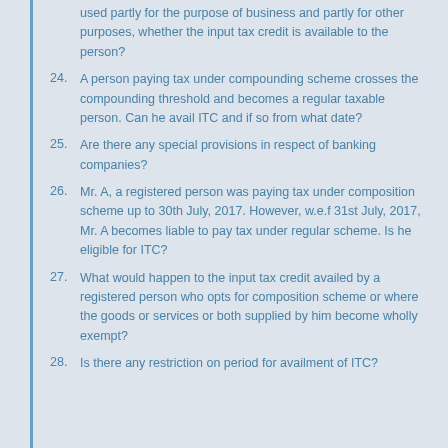23. ...supplies for the purpose of availing credit? ...goods received by a registered person are used partly for the purpose of business and partly for other purposes, whether the input tax credit is available to the person?
24. A person paying tax under compounding scheme crosses the compounding threshold and becomes a regular taxable person. Can he avail ITC and if so from what date?
25. Are there any special provisions in respect of banking companies?
26. Mr. A, a registered person was paying tax under composition scheme up to 30th July, 2017. However, w.e.f 31st July, 2017, Mr. A becomes liable to pay tax under regular scheme. Is he eligible for ITC?
27. What would happen to the input tax credit availed by a registered person who opts for composition scheme or where the goods or services or both supplied by him become wholly exempt?
28. Is there any restriction on period for availment of ITC?